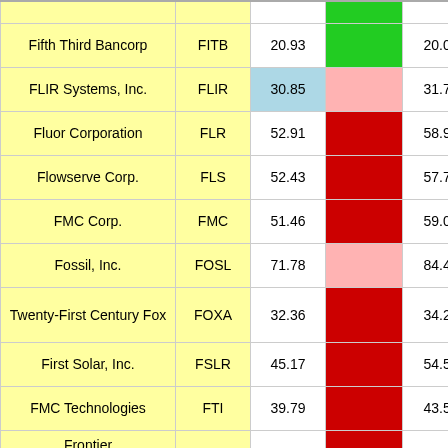| Company | Ticker | Price | Bar | Reference | % Change |
| --- | --- | --- | --- | --- | --- |
| Fifth Third Bancorp | FITB | 20.93 |  | 20.04 | 4.69 ▼ |
| FLIR Systems, Inc. | FLIR | 30.85 |  | 31.74 | -0.22 ▲ |
| Fluor Corporation | FLR | 52.91 |  | 58.91 | -2.92 ▼ |
| Flowserve Corp. | FLS | 52.43 |  | 57.75 | -2.95 ▼ |
| FMC Corp. | FMC | 51.46 |  | 59.02 | -4.71 ▼ |
| Fossil, Inc. | FOSL | 71.78 |  | 84.41 | -6.39 ▲ |
| Twenty-First Century Fox | FOXA | 32.36 |  | 34.21 | -2.02 ▼ |
| First Solar, Inc. | FSLR | 45.17 |  | 54.55 | -3.85 ▼ |
| FMC Technologies | FTI | 39.79 |  | 43.52 | 1.15 ▼ |
| Frontier |  |  |  |  | -8.49 |